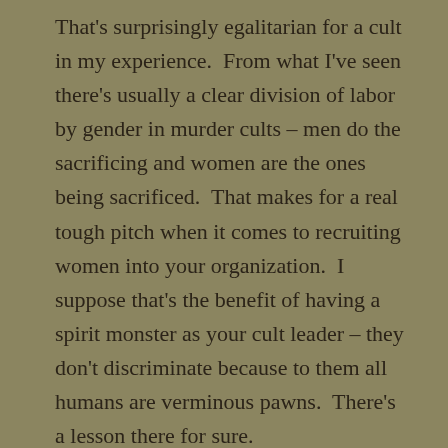That's surprisingly egalitarian for a cult in my experience.  From what I've seen there's usually a clear division of labor by gender in murder cults – men do the sacrificing and women are the ones being sacrificed.  That makes for a real tough pitch when it comes to recruiting women into your organization.  I suppose that's the benefit of having a spirit monster as your cult leader – they don't discriminate because to them all humans are verminous pawns.  There's a lesson there for sure.
Timora seemed to think that this hostage situation was quiet a thorny issues to resolve but the answer was simple – I walked up to them with sword in hand.  When they threatened to kill the hostage I ignored them.  Once it became apparent to them that I wasn't